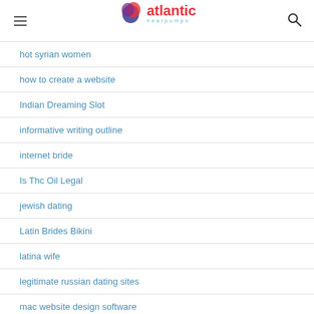atlantic heatpumps
hot syrian women
how to create a website
Indian Dreaming Slot
informative writing outline
internet bride
Is Thc Oil Legal
jewish dating
Latin Brides Bikini
latina wife
legitimate russian dating sites
mac website design software